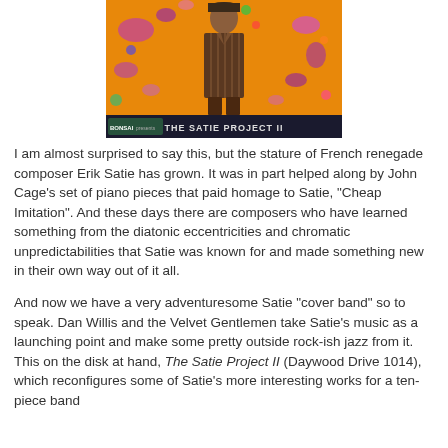[Figure (illustration): Album cover for 'The Satie Project II' showing a man in a brown striped suit standing against a colorful abstract orange and purple background with small decorative figures. The bottom of the cover shows a dark banner with the text 'THE SATIE PROJECT II'.]
I am almost surprised to say this, but the stature of French renegade composer Erik Satie has grown. It was in part helped along by John Cage's set of piano pieces that paid homage to Satie, "Cheap Imitation". And these days there are composers who have learned something from the diatonic eccentricities and chromatic unpredictabilities that Satie was known for and made something new in their own way out of it all.
And now we have a very adventuresome Satie "cover band" so to speak. Dan Willis and the Velvet Gentlemen take Satie's music as a launching point and make some pretty outside rock-ish jazz from it. This on the disk at hand, The Satie Project II (Daywood Drive 1014), which reconfigures some of Satie's more interesting works for a ten-piece band